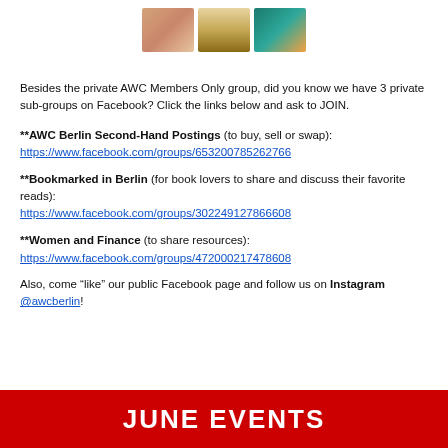[Figure (illustration): Three book covers shown at top of page]
Besides the private AWC Members Only group, did you know we have 3 private sub-groups on Facebook?  Click the links below and ask to JOIN.
**AWC Berlin Second-Hand Postings (to buy, sell or swap): https://www.facebook.com/groups/653200785262766
**Bookmarked in Berlin (for book lovers to share and discuss their favorite reads): https://www.facebook.com/groups/302249127866608
**Women and Finance (to share resources): https://www.facebook.com/groups/472000217478608
Also, come “like” our public Facebook page and follow us on Instagram @awcberlin!
JUNE EVENTS